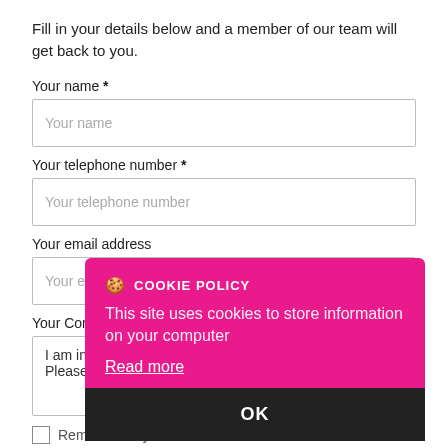Fill in your details below and a member of our team will get back to you.
Your name *
Your name
Your telephone number *
Your telephone number
Your email address
Your email address
Your Comments *
I am interested in 17 Sherbourne Place, Magherafelt. Please contact me about this property.
Remember my details
ENQUIRE
[Figure (screenshot): Cookie policy overlay popup with pink background showing 'COOKIE POLICY' header, text 'This site uses cookies to store information on your computer', a 'Read more' link, and a dark black 'OK' button at the bottom.]